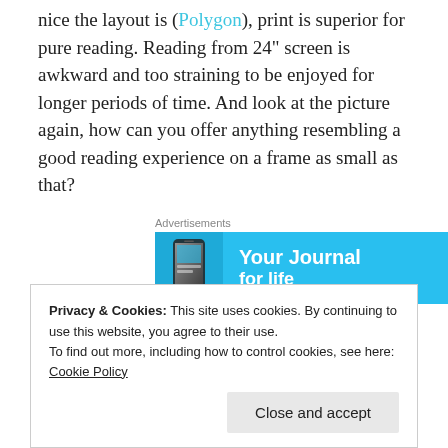nice the layout is (Polygon), print is superior for pure reading. Reading from 24" screen is awkward and too straining to be enjoyed for longer periods of time. And look at the picture again, how can you offer anything resembling a good reading experience on a frame as small as that?
[Figure (other): Advertisement banner with blue background showing 'Your Journal for life' text and a phone image]
I'm somewhat taken aback by the way people trash print. How do you read newspapers for example on a
Privacy & Cookies: This site uses cookies. By continuing to use this website, you agree to their use.
To find out more, including how to control cookies, see here: Cookie Policy
Close and accept